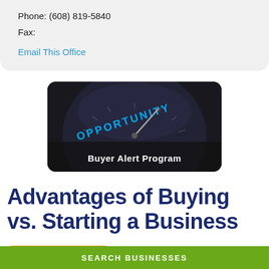Phone: (608) 819-5840
Fax:
Email This Office
[Figure (photo): A close-up of a gauge or dial with the word OPPORTUNITY written in blue letters, with a needle pointer. Overlaid text reads 'Buyer Alert Program' in bold white on a dark semi-transparent band.]
Advantages of Buying vs. Starting a Business
Contact Us
SEARCH BUSINESSES